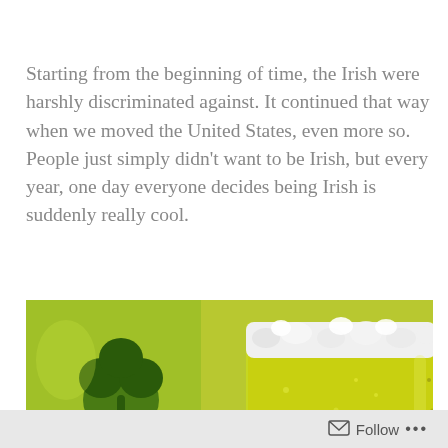Starting from the beginning of time, the Irish were harshly discriminated against. It continued that way when we moved the United States, even more so. People just simply didn't want to be Irish, but every year, one day everyone decides being Irish is suddenly really cool.
[Figure (photo): Close-up photo of a pint glass of green beer with white foam head, next to a green surface with a dark green shamrock design.]
Follow ...